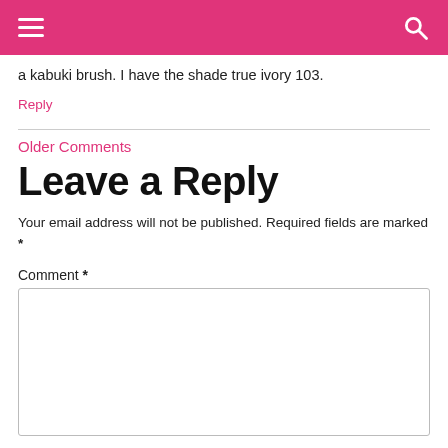a kabuki brush. I have the shade true ivory 103.
Reply
Older Comments
Leave a Reply
Your email address will not be published. Required fields are marked *
Comment *